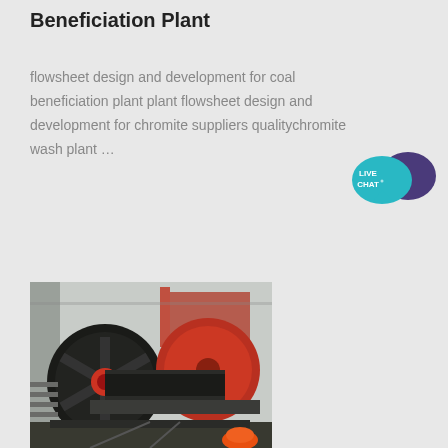Beneficiation Plant
flowsheet design and development for coal beneficiation plant plant flowsheet design and development for chromite suppliers qualitychromite wash plant …
[Figure (illustration): Live chat button with speech bubble icon in teal/purple, labeled LIVE CHAT]
[Figure (photo): Industrial mining equipment - large jaw crusher or pulley/drum machinery with black flywheels, red disc components, and heavy metal framework at an industrial plant site. A worker in a hard hat is visible in the lower right corner.]